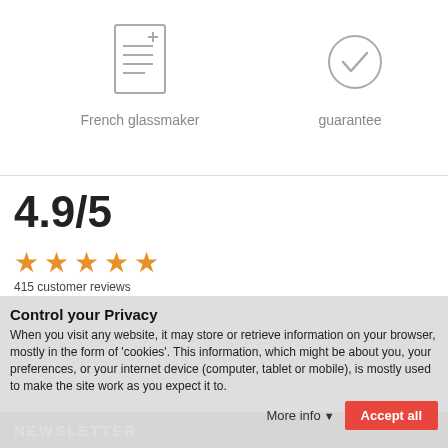[Figure (illustration): Icon of a document/prescription with a plus sign at top right]
French glassmaker
[Figure (illustration): Icon of a circular badge with a checkmark, representing a guarantee]
guarantee
4.9/5
[Figure (other): Five orange star rating icons]
415 customer reviews
Control your Privacy
When you visit any website, it may store or retrieve information on your browser, mostly in the form of 'cookies'. This information, which might be about you, your preferences, or your internet device (computer, tablet or mobile), is mostly used to make the site work as you expect it to.
More info
Accept all
NEWSLETTER